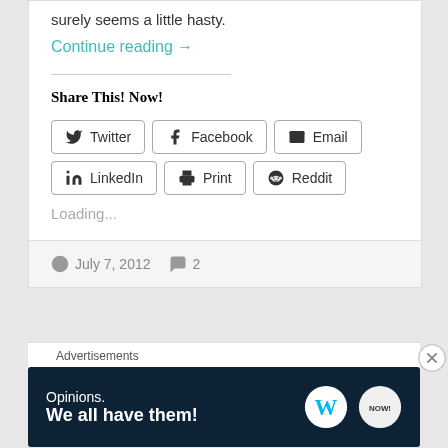surely seems a little hasty.
Continue reading →
Share This! Now!
[Figure (other): Social share buttons: Twitter, Facebook, Email, LinkedIn, Print, Reddit]
Loading...
July 7, 2012  2
Advertisements
[Figure (other): WordPress advertisement banner: Opinions. We all have them! with WordPress and Blog Now logos]